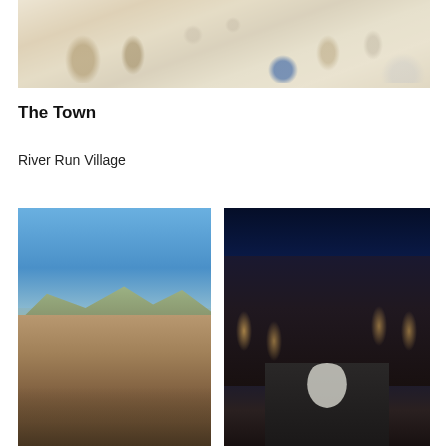[Figure (photo): Overhead view of a dining table set with glassware, dishes, condiments, and decorative blue glass objects on a white tablecloth]
The Town
River Run Village
[Figure (photo): Daytime street view of River Run Village with alpine buildings, pedestrians, blue sky, and snow-capped mountains in background]
[Figure (photo): Nighttime street view of River Run Village with illuminated storefronts, street lights, and a lighted figure/ghost projection on the road]